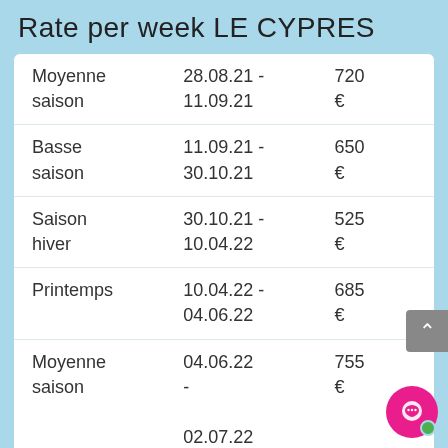Rate per week LE CYPRES
| Season | Date Range | Price |
| --- | --- | --- |
| Moyenne saison | 28.08.21 - 11.09.21 | 720 € |
| Basse saison | 11.09.21 - 30.10.21 | 650 € |
| Saison hiver | 30.10.21 - 10.04.22 | 525 € |
| Printemps | 10.04.22 - 04.06.22 | 685 € |
| Moyenne saison | 04.06.22 - 02.07.22 | 755 € |